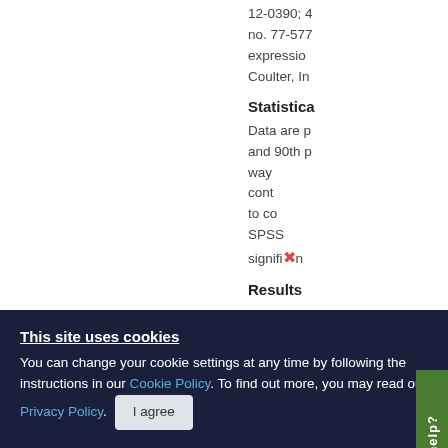12-0390; 4... no. 77-577... expression... Coulter, In...
Statistica
Data are p... and 90th p... way ... cont... to co... SPSS... signifi...m...
Results
This site uses cookies
You can change your cookie settings at any time by following the instructions in our Cookie Policy. To find out more, you may read our Privacy Policy.
I agree